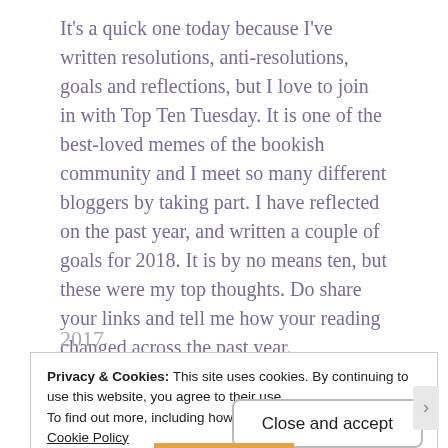It's a quick one today because I've written resolutions, anti-resolutions, goals and reflections, but I love to join in with Top Ten Tuesday. It is one of the best-loved memes of the bookish community and I meet so many different bloggers by taking part. I have reflected on the past year, and written a couple of goals for 2018. It is by no means ten, but these were my top thoughts. Do share your links and tell me how your reading changed across the past year.
2017
Privacy & Cookies: This site uses cookies. By continuing to use this website, you agree to their use.
To find out more, including how to control cookies, see here:
Cookie Policy